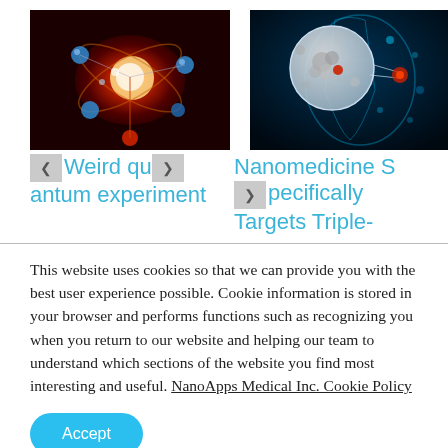[Figure (photo): Abstract quantum physics illustration showing glowing particle with orbital paths and colored spheres on dark red background]
[Figure (photo): Medical nanomedicine illustration showing nanoparticles targeting a tumor, with human torso x-ray in blue tones on black background]
Weird quantum experiment
Nanomedicine Specifically Targets Triple-
This website uses cookies so that we can provide you with the best user experience possible. Cookie information is stored in your browser and performs functions such as recognizing you when you return to our website and helping our team to understand which sections of the website you find most interesting and useful. NanoApps Medical Inc. Cookie Policy
Accept